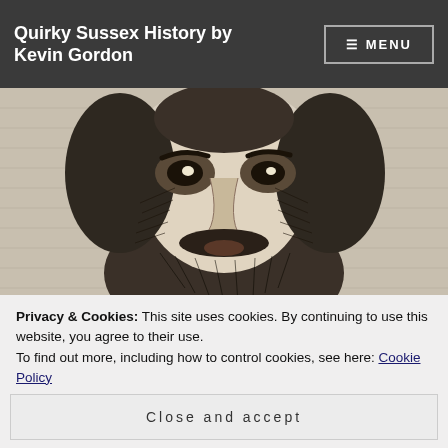Quirky Sussex History by Kevin Gordon
[Figure (illustration): Black and white engraving-style portrait of a bearded man, close-up of face and upper shoulders, with detailed crosshatching style illustration]
Privacy & Cookies: This site uses cookies. By continuing to use this website, you agree to their use.
To find out more, including how to control cookies, see here: Cookie Policy
Close and accept